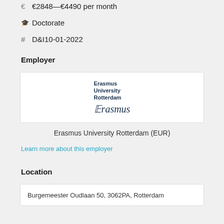€ €2848—€4490 per month
Doctorate
D&I10-01-2022
Employer
[Figure (logo): Erasmus University Rotterdam logo with text 'Erasmus University Rotterdam' and cursive Erasmus signature]
Erasmus University Rotterdam (EUR)
Learn more about this employer
Location
Burgemeester Oudlaan 50, 3062PA, Rotterdam